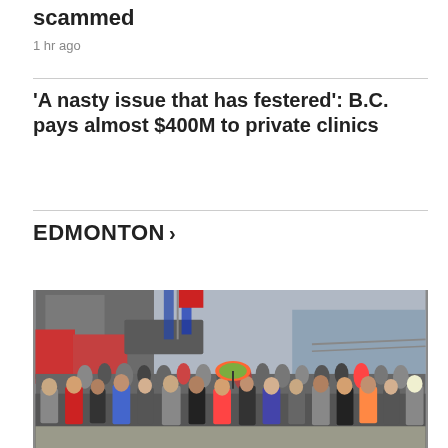scammed
1 hr ago
'A nasty issue that has festered': B.C. pays almost $400M to private clinics
EDMONTON >
[Figure (photo): A large crowd of people walking along a waterfront promenade with buildings and water visible in the background.]